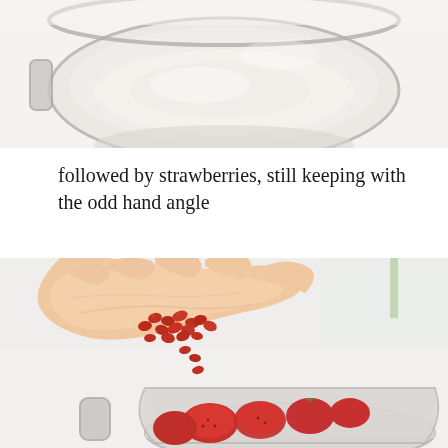[Figure (photo): Close-up photo of a blender bowl with white/cream liquid or batter, viewed from slightly above, with a hand partially visible at top]
followed by strawberries, still keeping with the odd hand angle
[Figure (photo): A hand holding red goji berries over a clear blender bowl containing fresh red strawberries, placed on a white surface with blurred background]